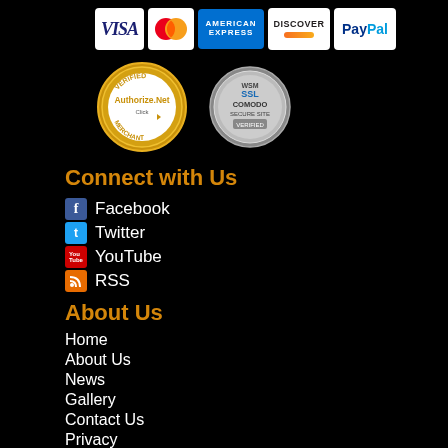[Figure (logo): Payment method icons: Visa, MasterCard, American Express, Discover, PayPal]
[Figure (logo): Authorize.Net Verified Merchant badge and WSM SSL Comodo Secure Site badge]
Connect with Us
Facebook
Twitter
YouTube
RSS
About Us
Home
About Us
News
Gallery
Contact Us
Privacy
Warranty
Service